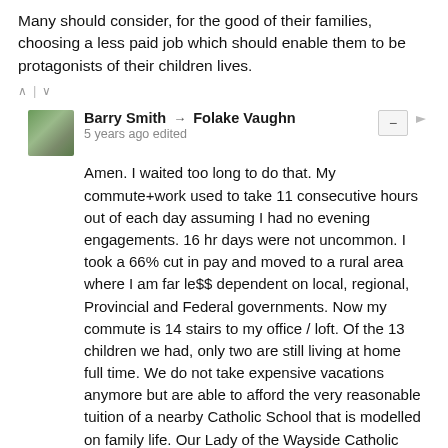Many should consider, for the good of their families, choosing a less paid job which should enable them to be protagonists of their children lives.
Barry Smith → Folake Vaughn
5 years ago edited
Amen. I waited too long to do that. My commute+work used to take 11 consecutive hours out of each day assuming I had no evening engagements. 16 hr days were not uncommon. I took a 66% cut in pay and moved to a rural area where I am far le$$ dependent on local, regional, Provincial and Federal governments. Now my commute is 14 stairs to my office / loft. Of the 13 children we had, only two are still living at home full time. We do not take expensive vacations anymore but are able to afford the very reasonable tuition of a nearby Catholic School that is modelled on family life. Our Lady of the Wayside Catholic School.
Folake Vaughn → Barry Smith